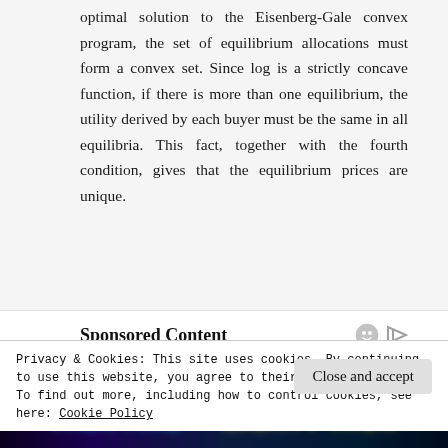optimal solution to the Eisenberg-Gale convex program, the set of equilibrium allocations must form a convex set. Since log is a strictly concave function, if there is more than one equilibrium, the utility derived by each buyer must be the same in all equilibria. This fact, together with the fourth condition, gives that the equilibrium prices are unique.
Sponsored Content
[Figure (photo): Advertisement banner for Thor Love and Thunder Marvel Strike Force game]
Privacy & Cookies: This site uses cookies. By continuing to use this website, you agree to their use.
To find out more, including how to control cookies, see here: Cookie Policy
Close and accept
[Figure (photo): Advertisement banner showing VALKYRIE and MIGHTY THOR text on dark background]